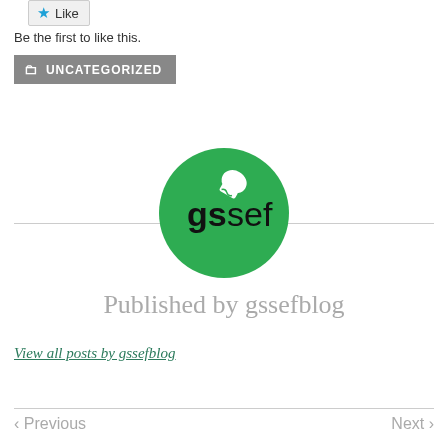[Figure (other): Like button with blue star icon]
Be the first to like this.
UNCATEGORIZED
[Figure (logo): gssef blog logo: green circle with white chef hat icon and text 'gssef' in bold]
Published by gssefblog
View all posts by gssefblog
Previous
Next